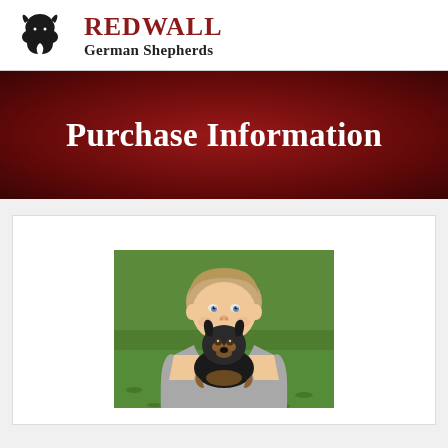Redwall German Shepherds
Purchase Information
[Figure (photo): A smiling boy holding a black and tan German Shepherd puppy against a green grass background]